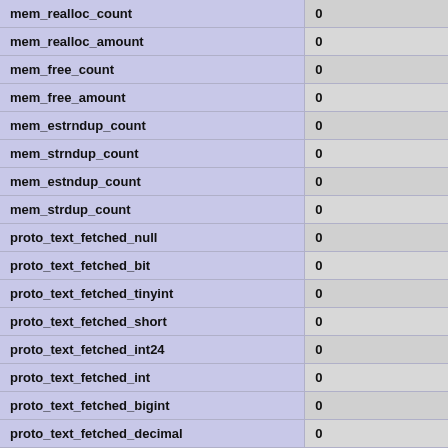| mem_realloc_count | 0 |
| mem_realloc_amount | 0 |
| mem_free_count | 0 |
| mem_free_amount | 0 |
| mem_estrndup_count | 0 |
| mem_strndup_count | 0 |
| mem_estndup_count | 0 |
| mem_strdup_count | 0 |
| proto_text_fetched_null | 0 |
| proto_text_fetched_bit | 0 |
| proto_text_fetched_tinyint | 0 |
| proto_text_fetched_short | 0 |
| proto_text_fetched_int24 | 0 |
| proto_text_fetched_int | 0 |
| proto_text_fetched_bigint | 0 |
| proto_text_fetched_decimal | 0 |
| proto_text_fetched_float | 0 |
| proto_text_fetched_double | 0 |
| proto_text_fetched_date | 0 |
| proto_text_fetched_year | 0 |